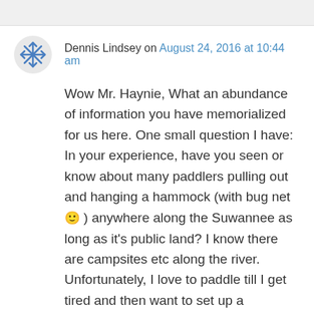Dennis Lindsey on August 24, 2016 at 10:44 am
Wow Mr. Haynie, What an abundance of information you have memorialized for us here. One small question I have: In your experience, have you seen or know about many paddlers pulling out and hanging a hammock (with bug net 🙂 ) anywhere along the Suwannee as long as it's public land? I know there are campsites etc along the river. Unfortunately, I love to paddle till I get tired and then want to set up a hammock without having to be concerned about scheduling / keeping a reservation somewhere. I'm pretty self-reliant and don;t need a lot of comforts. Not sure if my question makes sense to you.